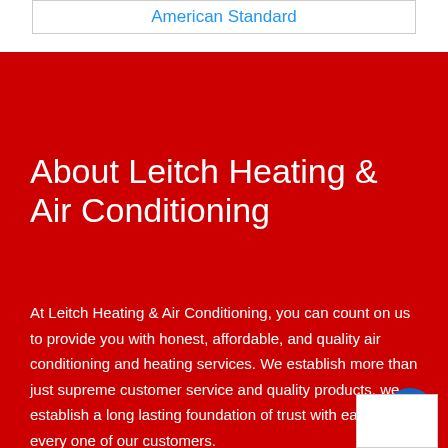American Standard
About Leitch Heating & Air Conditioning
At Leitch Heating & Air Conditioning, you can count on us to provide you with honest, affordable, and quality air conditioning and heating services. We establish more than just supreme customer service and quality products, we establish a long lasting foundation of trust with each and every one of our customers.
We are an experienced HVAC service company and are highly qualified to offer commercial and residential